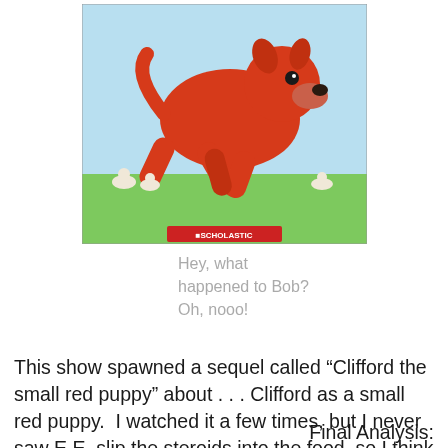[Figure (illustration): Clifford the Big Red Dog running on a grassy field, with a Scholastic logo at the bottom of the image. The large red cartoon dog is shown mid-run against a blue sky background with small white animals in the background.]
Hey, what happened to Bob? Oh, nooo!
This show spawned a sequel called “Clifford the small red puppy” about . . . Clifford as a small red puppy.  I watched it a few times, but I never saw E.E. slip the steroids into the food, so I think there is major editing going on there.  Also, they have effectively removed the only thing that made Clifford interesting, which is his size.  If you can’t ride the darn dog to school, then what’s the point?
Final Analysis: